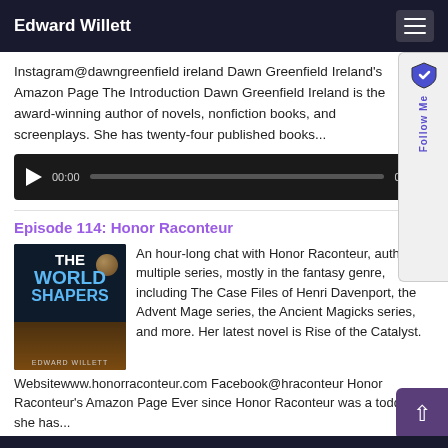Edward Willett
Instagram@dawngreenfield ireland Dawn Greenfield Ireland's Amazon Page The Introduction Dawn Greenfield Ireland is the award-winning author of novels, nonfiction books, and screenplays. She has twenty-four published books...
[Figure (other): Audio player with play button, time display 00:00, progress bar, and end time 00:00]
Episode 114: Honor Raconteur
[Figure (illustration): Book cover for 'The World Shapers' by Edward Willett, showing the title in white and blue text on a dark background with a planet/landscape scene]
An hour-long chat with Honor Raconteur, author of multiple series, mostly in the fantasy genre, including The Case Files of Henri Davenport, the Advent Mage series, the Ancient Magicks series, and more. Her latest novel is Rise of the Catalyst. Websitewww.honorraconteur.com Facebook@hraconteur Honor Raconteur's Amazon Page Ever since Honor Raconteur was a toddler, she has...